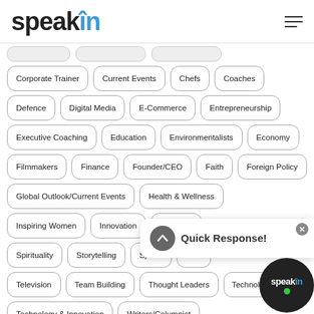speakîn
Corporate Trainer
Current Events
Chefs
Coaches
Defence
Digital Media
E-Commerce
Entrepreneurship
Executive Coaching
Education
Environmentalists
Economy
Filmmakers
Finance
Founder/CEO
Faith
Foreign Policy
Global Outlook/Current Events
Health & Wellness
Inspiring Women
Innovation
Inspiratio…
Spirituality
Storytelling
Sports
Soci…
Television
Team Building
Thought Leaders
Technolo…
Technology & Innovation
Writers/Columnist
Quick Response!